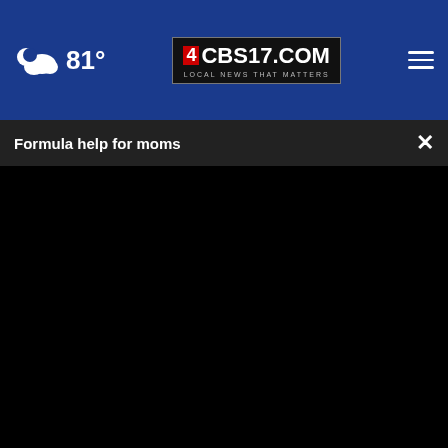81° CBS17.COM LOCAL NEWS THAT MATTERS
Formula help for moms
[Figure (screenshot): Black video player area with play button, mute button, and fullscreen button controls]
Skin
Dr. Kelly Ann
[Figure (infographic): Petco advertisement: Sterling OPEN 9AM-8PM, 22000 Dulles Retail Plaza, #110, Sterling]